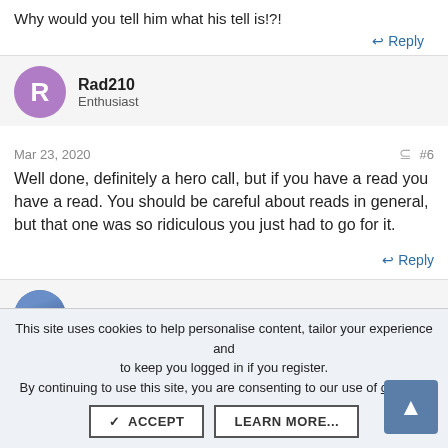Why would you tell him what his tell is!?!
↩ Reply
Rad210
Enthusiast
Mar 23, 2020
#6
Well done, definitely a hero call, but if you have a read you have a read. You should be careful about reads in general, but that one was so ridiculous you just had to go for it.
↩ Reply
elJenio8
This site uses cookies to help personalise content, tailor your experience and to keep you logged in if you register.
By continuing to use this site, you are consenting to our use of cookies.
✓ ACCEPT
LEARN MORE...